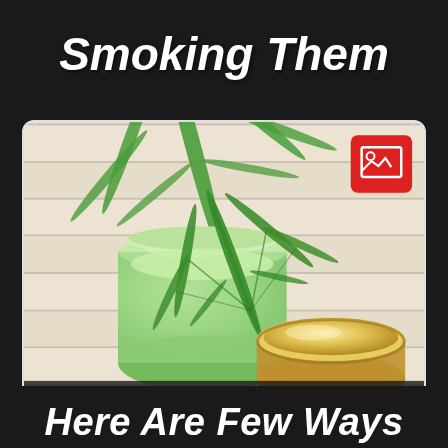Smoking Them
[Figure (photo): Photo of cannabis CBD cream/balm products: a glass jar with green lotion and a cannabis leaf resting on top, alongside an open metal tin with yellow/gold balm, both on a white wood plank surface.]
Here Are Few Ways